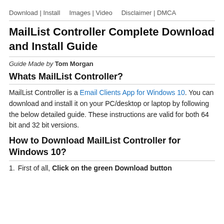Download | Install   Images | Video   Disclaimer | DMCA
MailList Controller Complete Download and Install Guide
Guide Made by Tom Morgan
Whats MailList Controller?
MailList Controller is a Email Clients App for Windows 10. You can download and install it on your PC/desktop or laptop by following the below detailed guide. These instructions are valid for both 64 bit and 32 bit versions.
How to Download MailList Controller for Windows 10?
1. First of all, Click on the green Download button